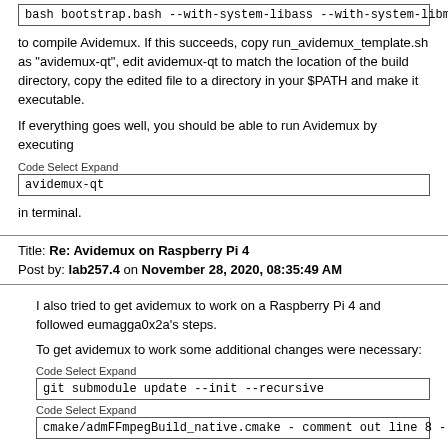bash bootstrap.bash --with-system-libass --with-system-libmad
to compile Avidemux. If this succeeds, copy run_avidemux_template.sh as "avidemux-qt", edit avidemux-qt to match the location of the build directory, copy the edited file to a directory in your $PATH and make it executable.
If everything goes well, you should be able to run Avidemux by executing
Code Select Expand
avidemux-qt
in terminal.
Title: Re: Avidemux on Raspberry Pi 4
Post by: lab257.4 on November 28, 2020, 08:35:49 AM
I also tried to get avidemux to work on a Raspberry Pi 4 and followed eumagga0x2a's steps.
To get avidemux to work some additional changes were necessary:
Code Select Expand
git submodule update --init --recursive
Code Select Expand
cmake/admFFmpegBuild_native.cmake - comment out line 8 - 13
However there are many video files that cause avidemux to force